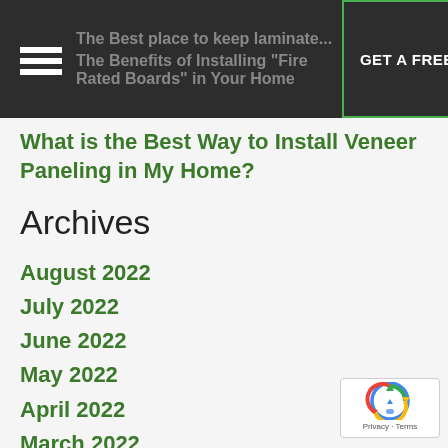The Best place to keep laminate... | The Benefits of Installing "Fire Rated Boards" in Your Home | GET A FREE QUOTE
What is the Best Way to Install Veneer Paneling in My Home?
Archives
August 2022
July 2022
June 2022
May 2022
April 2022
March 2022
February 2022
January 2022
December 2021
November 2021
October 2021